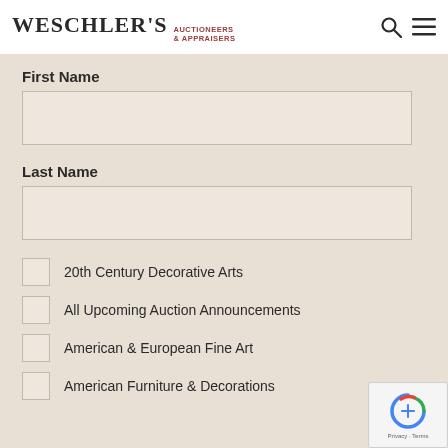WESCHLER'S AUCTIONEERS & APPRAISERS
First Name
Last Name
20th Century Decorative Arts
All Upcoming Auction Announcements
American & European Fine Art
American Furniture & Decorations